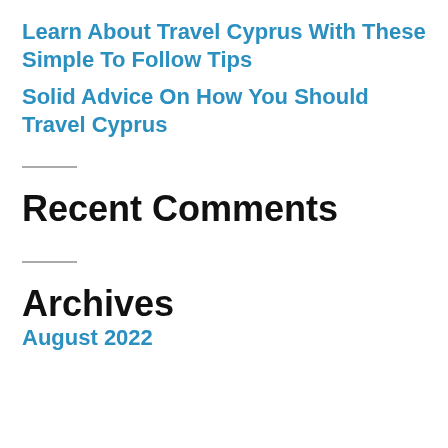Learn About Travel Cyprus With These Simple To Follow Tips
Solid Advice On How You Should Travel Cyprus
Recent Comments
Archives
August 2022